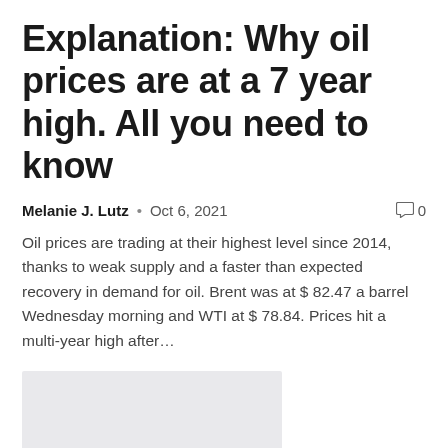Explanation: Why oil prices are at a 7 year high. All you need to know
Melanie J. Lutz  •  Oct 6, 2021   💬 0
Oil prices are trading at their highest level since 2014, thanks to weak supply and a faster than expected recovery in demand for oil. Brent was at $ 82.47 a barrel Wednesday morning and WTI at $ 78.84. Prices hit a multi-year high after…
[Figure (photo): Gray placeholder image for an article thumbnail]
Chinese Huayou Cobalt Seeks